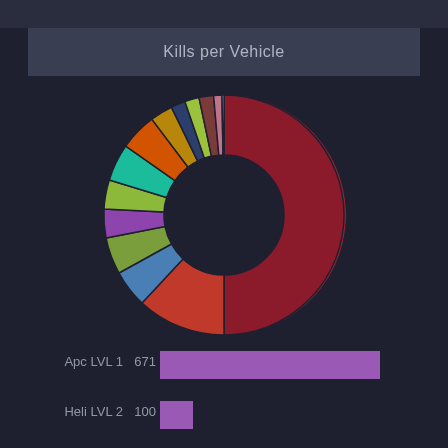Kills per Vehicle
[Figure (donut-chart): Kills per Vehicle]
[Figure (bar-chart): Kills per Vehicle (bar)]